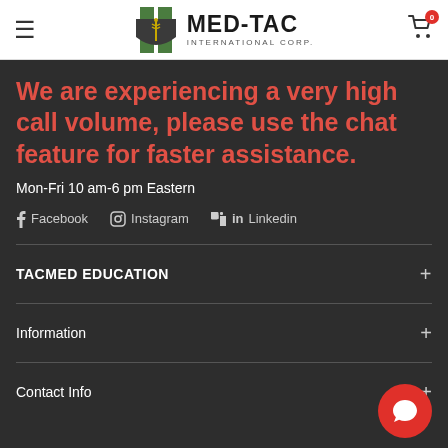MED-TAC INTERNATIONAL CORP.
We are experiencing a very high call volume, please use the chat feature for faster assistance.
Mon-Fri 10 am-6 pm Eastern
Facebook   Instagram   Linkedin
TACMED EDUCATION
Information
Contact Info